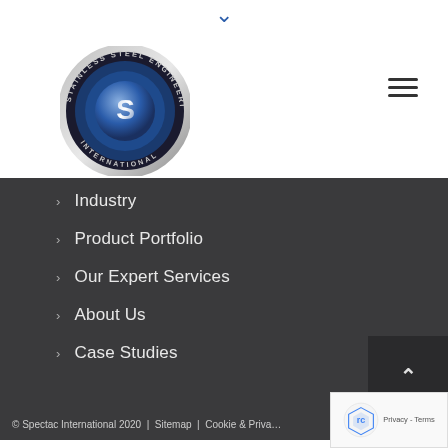[Figure (logo): Spectac International circular logo with stainless steel engineering text around the border and stylized S letter in center]
> Industry
> Product Portfolio
> Our Expert Services
> About Us
> Case Studies
© Spectac International 2020 | Sitemap | Cookie & Priva...